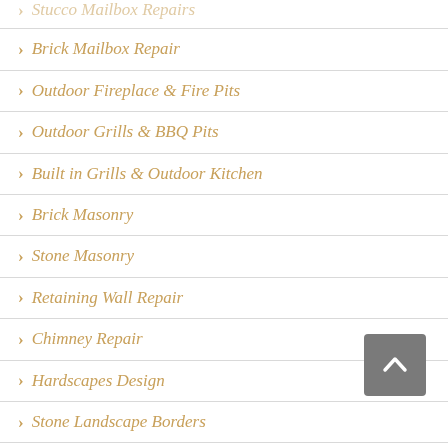Stucco Mailbox Repairs
Brick Mailbox Repair
Outdoor Fireplace & Fire Pits
Outdoor Grills & BBQ Pits
Built in Grills & Outdoor Kitchen
Brick Masonry
Stone Masonry
Retaining Wall Repair
Chimney Repair
Hardscapes Design
Stone Landscape Borders